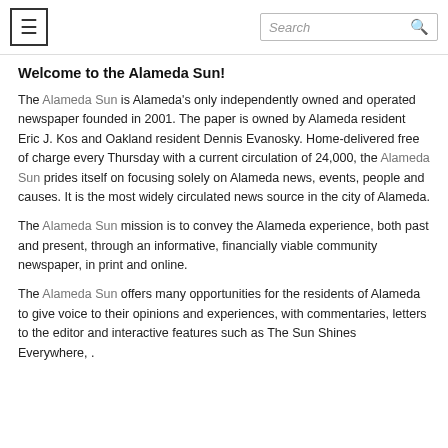[hamburger menu] [Search]
Welcome to the Alameda Sun!
The Alameda Sun is Alameda's only independently owned and operated newspaper founded in 2001. The paper is owned by Alameda resident Eric J. Kos and Oakland resident Dennis Evanosky. Home-delivered free of charge every Thursday with a current circulation of 24,000, the Alameda Sun prides itself on focusing solely on Alameda news, events, people and causes. It is the most widely circulated news source in the city of Alameda.
The Alameda Sun mission is to convey the Alameda experience, both past and present, through an informative, financially viable community newspaper, in print and online.
The Alameda Sun offers many opportunities for the residents of Alameda to give voice to their opinions and experiences, with commentaries, letters to the editor and interactive features such as The Sun Shines Everywhere, .